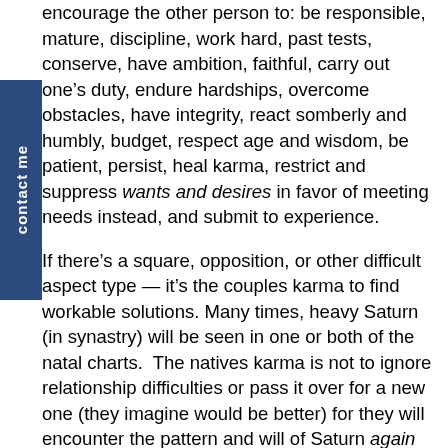encourage the other person to: be responsible, mature, discipline, work hard, past tests, conserve, have ambition, faithful, carry out one's duty, endure hardships, overcome obstacles, have integrity, react somberly and humbly, budget, respect age and wisdom, be patient, persist, heal karma, restrict and suppress wants and desires in favor of meeting needs instead, and submit to experience.
If there's a square, opposition, or other difficult aspect type — it's the couples karma to find workable solutions. Many times, heavy Saturn (in synastry) will be seen in one or both of the natal charts. The natives karma is not to ignore relationship difficulties or pass it over for a new one (they imagine would be better) for they will encounter the pattern and will of Saturn again until they pass the test. In other words, difficult Saturn will show up in synastry again.
The Saturn partner sheds a light on what you need to mature. So instead of feeling parented by the Saturn